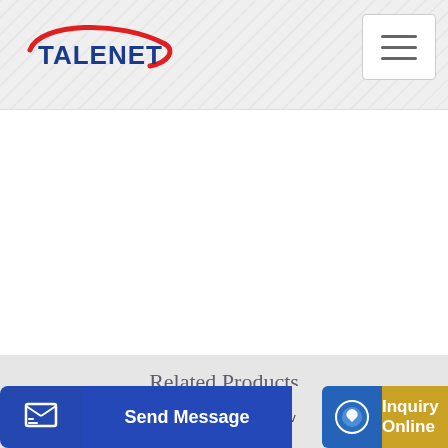TALENET
[Figure (logo): TALENET logo with red ellipse arc and blue bold text]
Related Products
mini concrete pump machine cone crusher consultation
China 48m Concrete Boom Pump Truck on Sale SYG5361THB
Send Message | Inquiry Online